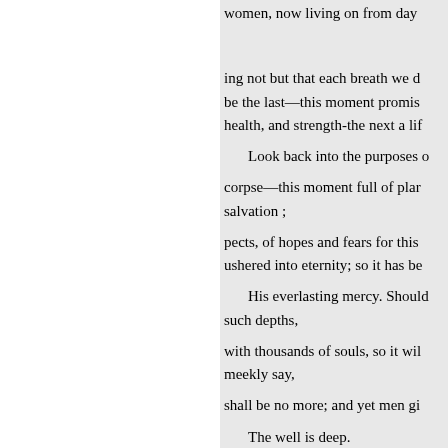women, now living on from day
ing not but that each breath we d
be the last—this moment promis
health, and strength-the next a lif
Look back into the purposes o
corpse—this moment full of plar salvation ;
pects, of hopes and fears for this ushered into eternity; so it has be
His everlasting mercy. Should such depths,
with thousands of souls, so it wil meekly say,
shall be no more; and yet men gi
The well is deep.
to the things that belong to their p line
They live on unmindful of Hir